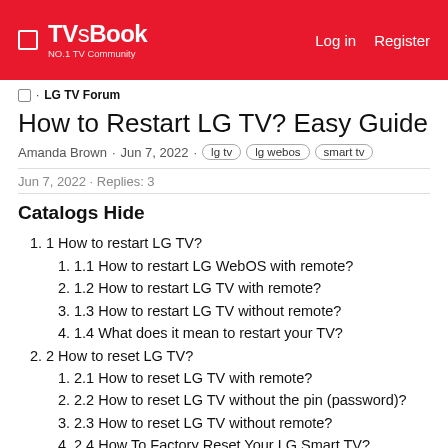TVsBook NO.1 TV Community | Log in | Register
🏠 · LG TV Forum
How to Restart LG TV? Easy Guide
Amanda Brown · Jun 7, 2022 · lg tv · lg webos · smart tv
Jun 7, 2022 · Replies: 3
Catalogs Hide
1. 1 How to restart LG TV?
1. 1.1 How to restart LG WebOS with remote?
2. 1.2 How to restart LG TV with remote?
3. 1.3 How to restart LG TV without remote?
4. 1.4 What does it mean to restart your TV?
2. 2 How to reset LG TV?
1. 2.1 How to reset LG TV with remote?
2. 2.2 How to reset LG TV without the pin (password)?
3. 2.3 How to reset LG TV without remote?
4. 2.4 How To Factory Reset Your LG Smart TV?